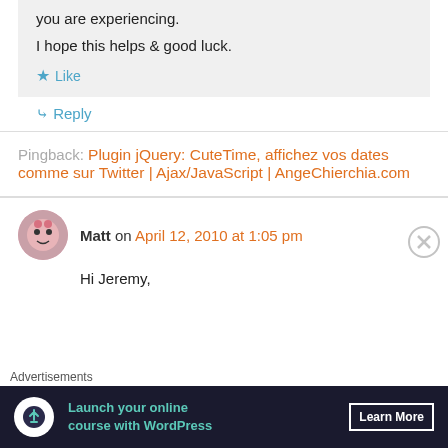you are experiencing.
I hope this helps & good luck.
Like
Reply
Pingback: Plugin jQuery: CuteTime, affichez vos dates comme sur Twitter | Ajax/JavaScript | AngeChierchia.com
Matt on April 12, 2010 at 1:05 pm
Hi Jeremy,
Advertisements
Launch your online course with WordPress Learn More